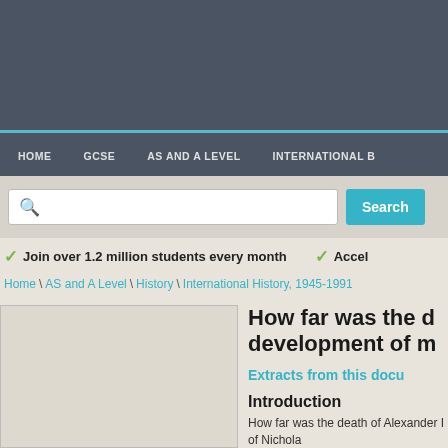HOME   GCSE   AS AND A LEVEL   INTERNATIONAL B
[Figure (screenshot): Search bar with magnifying glass icon and Search button]
✓ Join over 1.2 million students every month   ✓ Accel...
Home \ AS and A Level \ History \ International History, 1945-1991
[Figure (photo): Document thumbnail image placeholder]
How far was the d... development of m...
Extracts from this docu...
Introduction
How far was the death of Alexander I... of Nichola...